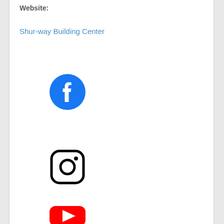Website:
Shur-way Building Center
[Figure (logo): Facebook logo - blue circle with white 'f' letter]
[Figure (logo): Instagram logo - rounded square with camera outline and dot]
[Figure (logo): YouTube logo - red rounded rectangle (partially visible)]